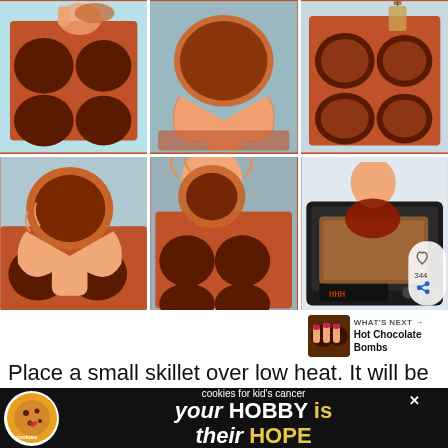[Figure (photo): Six-panel photo grid showing step-by-step process of making hot chocolate bombs using a silicone mold. Top row: chocolate-filled mold, removing chocolate hemisphere, mold with completed shells. Bottom row: holding a finished chocolate ball, placing shell on mold, pressing chocolate shell onto a skillet to melt edges. Last panel shows a hand pressing a chocolate ball onto a hot plate/skillet.]
Place a small skillet over low heat. It will be used to smooth the globe edges and help each...
[Figure (infographic): What's Next panel showing thumbnail of Hot Chocolate Bombs with text 'WHAT'S NEXT → Hot Chocolate Bombs']
[Figure (infographic): Advertisement banner at bottom: 'cookies for kid's cancer - your HOBBY is their HOPE' with close button and cookie/heart logo]